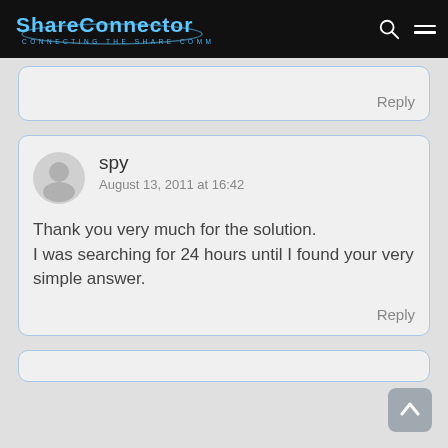ShareConnector — Connecting the Share Community
Reply
spy
August 13, 2011 at 16:42

Thank you very much for the solution.
I was searching for 24 hours until I found your very simple answer.
Reply